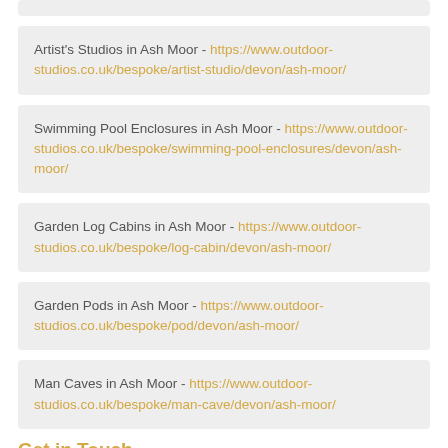Artist's Studios in Ash Moor - https://www.outdoor-studios.co.uk/bespoke/artist-studio/devon/ash-moor/
Swimming Pool Enclosures in Ash Moor - https://www.outdoor-studios.co.uk/bespoke/swimming-pool-enclosures/devon/ash-moor/
Garden Log Cabins in Ash Moor - https://www.outdoor-studios.co.uk/bespoke/log-cabin/devon/ash-moor/
Garden Pods in Ash Moor - https://www.outdoor-studios.co.uk/bespoke/pod/devon/ash-moor/
Man Caves in Ash Moor - https://www.outdoor-studios.co.uk/bespoke/man-cave/devon/ash-moor/
Get in Touch